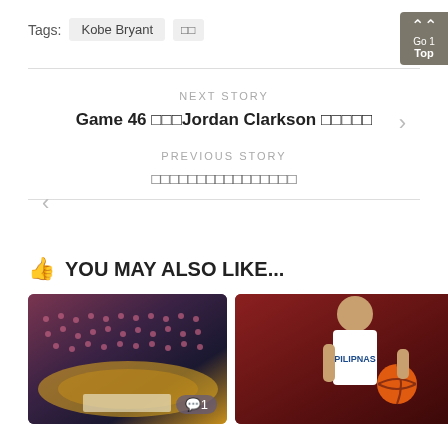Tags:  Kobe Bryant  □□
NEXT STORY
Game 46 □□□Jordan Clarkson □□□□□
PREVIOUS STORY
□□□□□□□□□□□□□□□□
👍 YOU MAY ALSO LIKE...
[Figure (photo): Basketball arena with crowd and court visible, warm toned with purple and gold hues. Comment badge showing 1 comment.]
[Figure (photo): Basketball player in white Pilipinas jersey holding a ball, reddish-brown background.]